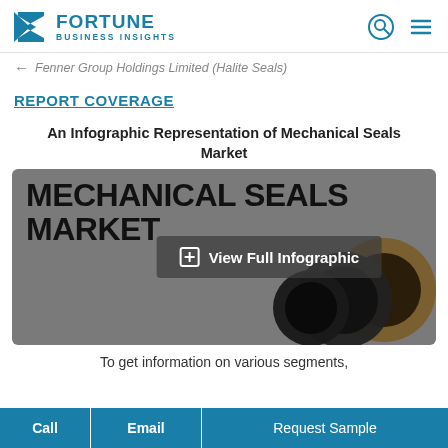Fortune Business Insights
Fenner Group Holdings Limited (Halite Seals)
REPORT COVERAGE
An Infographic Representation of Mechanical Seals Market
[Figure (infographic): Mechanical Seals Market infographic image showing large mechanical seal rings on a gray background with overlay text 'View Full Infographic' and bold title text 'MECHANICAL SEALS MARKET']
To get information on various segments,
Call   Email   Request Sample